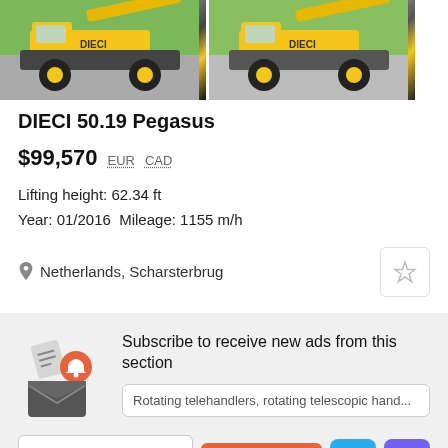[Figure (photo): Two yellow DIECI 50.19 Pegasus telehandler machines photographed side by side outdoors on a paved surface with green trees in background]
DIECI 50.19 Pegasus
$99,570  EUR  CAD
Lifting height: 62.34 ft
Year: 01/2016  Mileage: 1155 m/h
Netherlands, Scharsterbrug
Subscribe to receive new ads from this section
Rotating telehandlers, rotating telescopic hand...
Enter your e-mail addres:
Subscribe